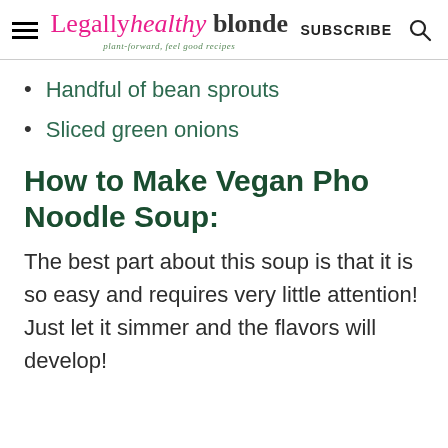Legally healthy blonde — plant-forward, feel good recipes | SUBSCRIBE
Handful of bean sprouts
Sliced green onions
How to Make Vegan Pho Noodle Soup:
The best part about this soup is that it is so easy and requires very little attention! Just let it simmer and the flavors will develop!